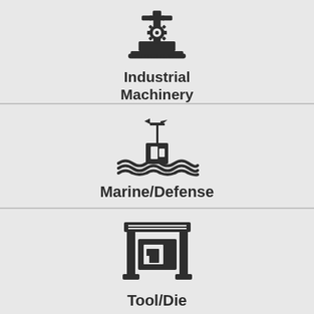[Figure (illustration): Industrial machinery icon showing a crane/robotic arm with a gear, on a platform with tracks]
Industrial Machinery
[Figure (illustration): Marine/Defense icon showing a buoy or vessel with a mast and wind vane on water with waves]
Marine/Defense
[Figure (illustration): Tool/Die icon showing a press or milling machine with an opening/slot]
Tool/Die